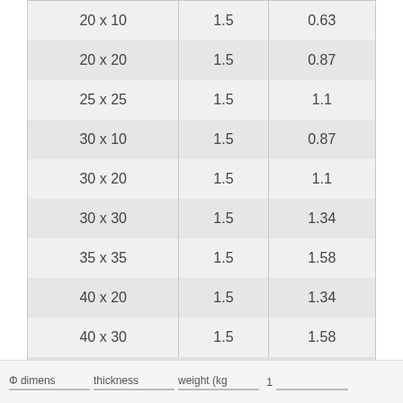| Φ dimensions | thickness | weight (kg) |
| --- | --- | --- |
| 20 x 10 | 1.5 | 0.63 |
| 20 x 20 | 1.5 | 0.87 |
| 25 x 25 | 1.5 | 1.1 |
| 30 x 10 | 1.5 | 0.87 |
| 30 x 20 | 1.5 | 1.1 |
| 30 x 30 | 1.5 | 1.34 |
| 35 x 35 | 1.5 | 1.58 |
| 40 x 20 | 1.5 | 1.34 |
| 40 x 30 | 1.5 | 1.58 |
Φ dimensions  thickness  weight (kg)  1